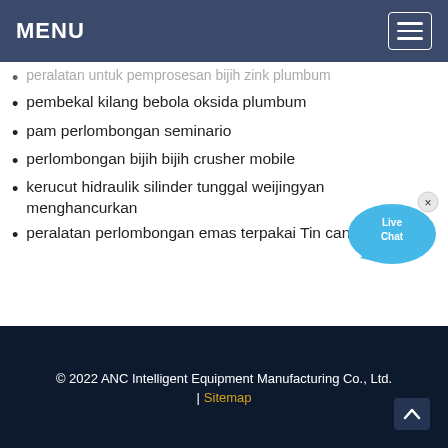MENU
peralatan untuk pemprosesan bijih zink plumbum
pembekal kilang bebola oksida plumbum
pam perlombongan seminario
perlombongan bijih bijih crusher mobile
kerucut hidraulik silinder tunggal weijingyan menghancurkan
peralatan perlombongan emas terpakai Tin canada
[Figure (illustration): Live Chat bubble icon with blue speech bubble graphic and 'Live Chat' text and an X close button]
© 2022 ANC Intelligent Equipment Manufacturing Co., Ltd. | Sitemap